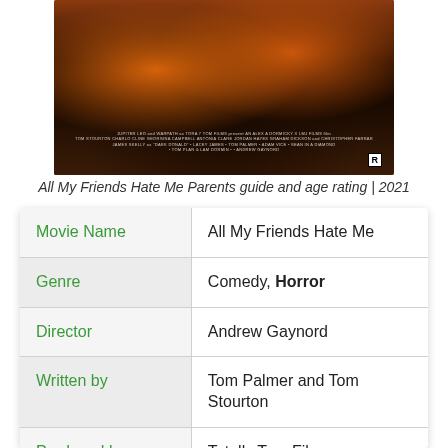[Figure (photo): Movie poster for 'All My Friends Hate Me' showing a person sitting in an armchair by a fireplace holding a wine glass, with dark orange and brown tones. Credits text at bottom and R rating badge.]
All My Friends Hate Me Parents guide and age rating | 2021
| Movie Name | All My Friends Hate Me |
| Genre | Comedy, Horror |
| Director | Andrew Gaynord |
| Written by | Tom Palmer and Tom Stourton |
| Produced by | Totally Tom Films, |